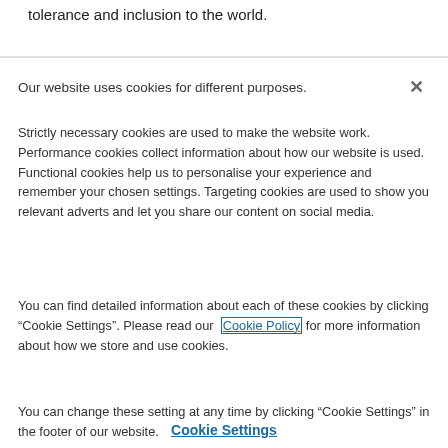tolerance and inclusion to the world.
Our website uses cookies for different purposes.
Strictly necessary cookies are used to make the website work. Performance cookies collect information about how our website is used. Functional cookies help us to personalise your experience and remember your chosen settings. Targeting cookies are used to show you relevant adverts and let you share our content on social media.
You can find detailed information about each of these cookies by clicking “Cookie Settings”. Please read our Cookie Policy for more information about how we store and use cookies.
You can change these setting at any time by clicking “Cookie Settings” in the footer of our website.
Cookie Settings